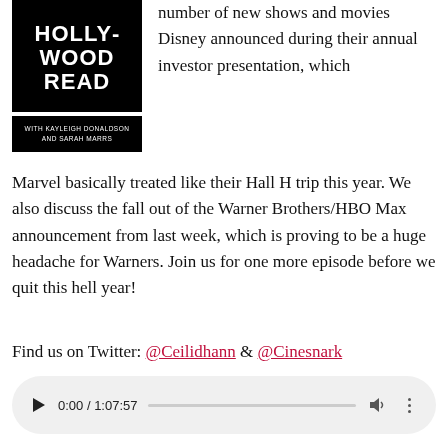[Figure (illustration): Podcast cover image with black background reading 'HOLLYWOOD READ' with subtitle 'WITH KAYLEIGH DONALDSON AND SARAH MARRS']
number of new shows and movies Disney announced during their annual investor presentation, which Marvel basically treated like their Hall H trip this year. We also discuss the fall out of the Warner Brothers/HBO Max announcement from last week, which is proving to be a huge headache for Warners. Join us for one more episode before we quit this hell year!
Find us on Twitter: @Ceilidhann & @Cinesnark
[Figure (other): Audio player showing 0:00 / 1:07:57 with play button, progress bar, volume and more options controls]